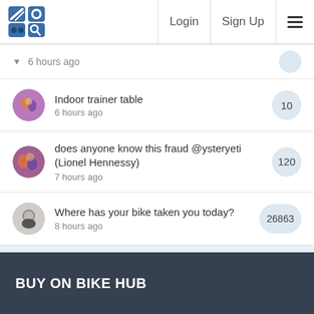Login | Sign Up
6 hours ago
Indoor trainer table
6 hours ago
10
does anyone know this fraud @ysteryeti (Lionel Hennessy)
7 hours ago
120
Where has your bike taken you today?
8 hours ago
26863
View All
BUY ON BIKE HUB